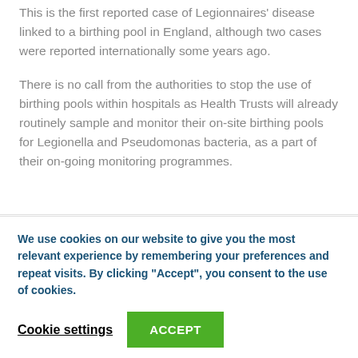This is the first reported case of Legionnaires disease linked to a birthing pool in England, although two cases were reported internationally some years ago.
There is no call from the authorities to stop the use of birthing pools within hospitals as Health Trusts will already routinely sample and monitor their on-site birthing pools for Legionella and Pseudomonas bacteria, as a part of their on-going monitoring programmes.
We use cookies on our website to give you the most relevant experience by remembering your preferences and repeat visits. By clicking “Accept”, you consent to the use of cookies.
Cookie settings
ACCEPT